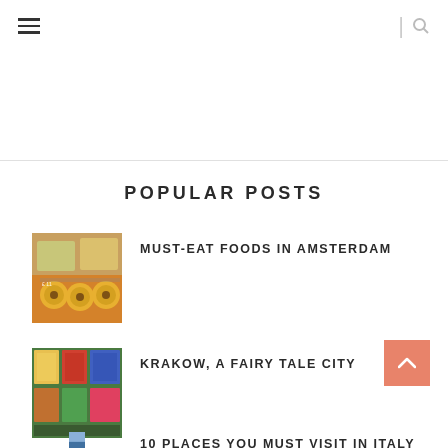Navigation bar with hamburger menu and search icon
POPULAR POSTS
[Figure (photo): Food photo - Dutch stroopwafels/cheese in Amsterdam market]
MUST-EAT FOODS IN AMSTERDAM
[Figure (photo): Colorful paintings/postcards on display in Krakow market]
KRAKOW, A FAIRY TALE CITY
[Figure (photo): Coastal view in Italy with blue water and cliffs]
10 PLACES YOU MUST VISIT IN ITALY